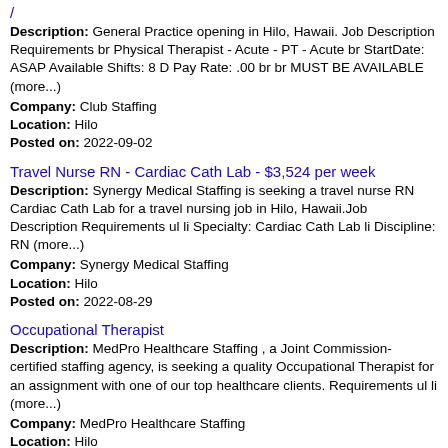/
Description: General Practice opening in Hilo, Hawaii. Job Description Requirements br Physical Therapist - Acute - PT - Acute br StartDate: ASAP Available Shifts: 8 D Pay Rate: .00 br br MUST BE AVAILABLE (more...)
Company: Club Staffing
Location: Hilo
Posted on: 2022-09-02
Travel Nurse RN - Cardiac Cath Lab - $3,524 per week
Description: Synergy Medical Staffing is seeking a travel nurse RN Cardiac Cath Lab for a travel nursing job in Hilo, Hawaii.Job Description Requirements ul li Specialty: Cardiac Cath Lab li Discipline: RN (more...)
Company: Synergy Medical Staffing
Location: Hilo
Posted on: 2022-08-29
Occupational Therapist
Description: MedPro Healthcare Staffing , a Joint Commission-certified staffing agency, is seeking a quality Occupational Therapist for an assignment with one of our top healthcare clients. Requirements ul li (more...)
Company: MedPro Healthcare Staffing
Location: Hilo
Posted on: 2022-08-30
Occupational Therapist (OT) - Outpatient